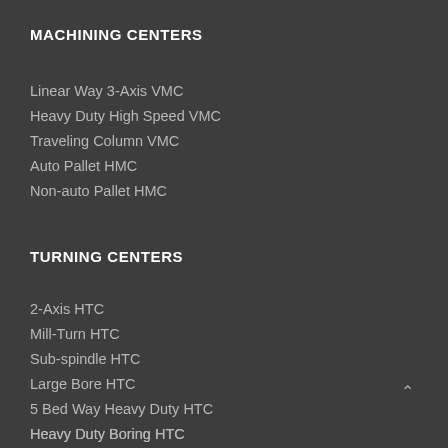MACHINING CENTERS
Linear Way 3-Axis VMC
Heavy Duty High Speed VMC
Traveling Column VMC
Auto Pallet HMC
Non-auto Pallet HMC
TURNING CENTERS
2-Axis HTC
Mill-Turn HTC
Sub-spindle HTC
Large Bore HTC
5 Bed Way Heavy Duty HTC
Heavy Duty Boring HTC
5-Axis Mill-Turn HTC
Double Turret Mill-Turn HTC